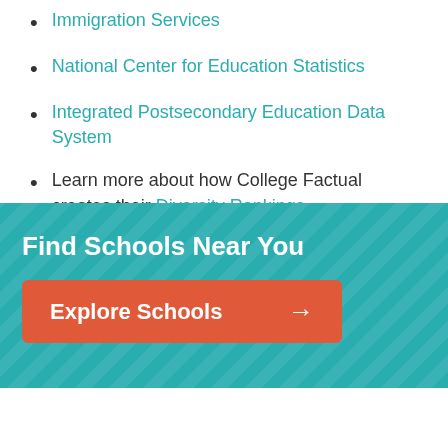Immigration Services
National Center for Education Statistics
Integrated Postsecondary Education Data System
Learn more about how College Factual creates their Diversity Rankings.
Find Schools Near You
Explore Schools →